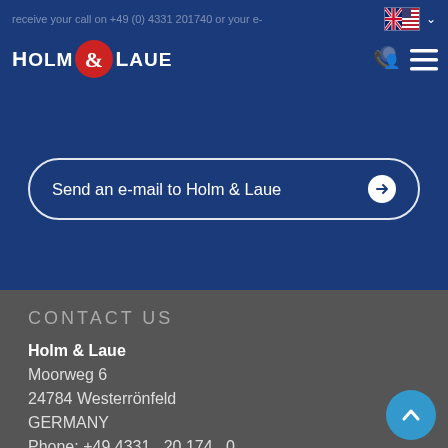receive your call on +49 (0) 4331 201740 or your e-
[Figure (logo): Holm & Laue logo with red ampersand on dark blue background]
[Figure (illustration): US/UK flag icon with dropdown chevron, phone/contact icon, hamburger menu icon]
Send an e-mail to Holm & Laue →
CONTACT US
Holm & Laue
Moorweg 6
24784 Westerrönfeld
GERMANY
Phone: +49 4331 . 20 174 . 0